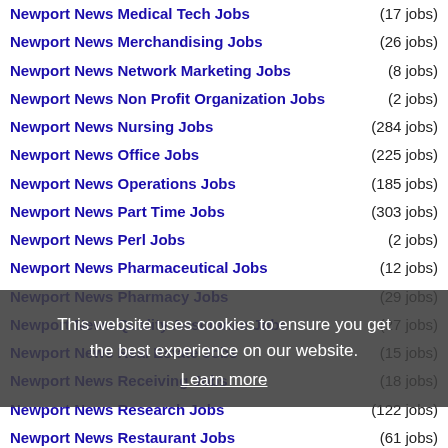Newport News Medical Tech Jobs (17 jobs)
Newport News Merchandising Jobs (26 jobs)
Newport News Network Marketing Jobs (8 jobs)
Newport News Non Profit Organization Jobs (2 jobs)
Newport News Nursing Jobs (284 jobs)
Newport News Office Jobs (225 jobs)
Newport News Operations Jobs (185 jobs)
Newport News Part Time Jobs (303 jobs)
Newport News Perl Jobs (2 jobs)
Newport News Pharmaceutical Jobs (12 jobs)
Newport News Pharmacy Jobs (29 jobs)
Newport News Quality Assurance Jobs (27 jobs)
Newport News Real Estate Jobs (15 jobs)
Newport News Receiving Jobs (18 jobs)
Newport News Research Jobs (122 jobs)
Newport News Restaurant Jobs (61 jobs)
Newport News Retail Sales Jobs (103 jobs)
Newport News Retail Management Jobs (39 jobs)
Newport News Retail Sales Jobs (52 jobs)
Newport News Sales Jobs (344 jobs)
This website uses cookies to ensure you get the best experience on our website. Learn more
Got it!